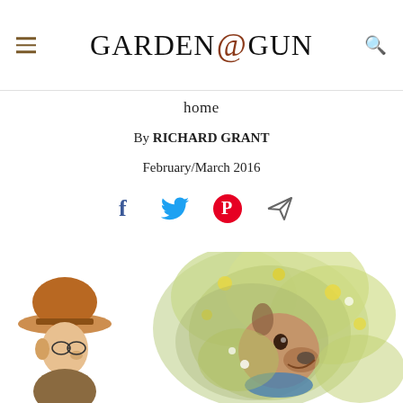GARDEN & GUN
home
By RICHARD GRANT
February/March 2016
[Figure (illustration): Social media sharing icons: Facebook (f), Twitter bird, Pinterest (P circle), and a paper plane/send icon]
[Figure (illustration): Illustrated scene with a man in a wide-brimmed hat on the left, and a whimsical hedgehog or creature surrounded by lush green and yellow foliage and flowers on the right]